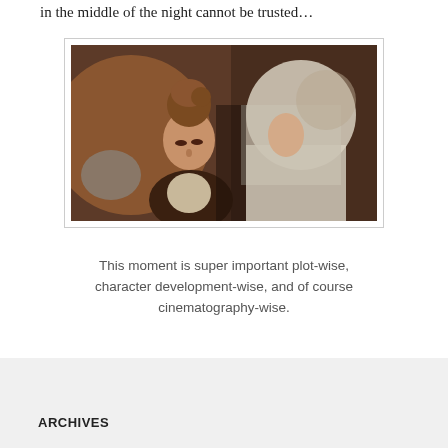in the middle of the night cannot be trusted…
[Figure (photo): Two women in period costume facing each other closely, one with curled updo hair wearing a dark jacket, the other wearing a white headscarf, in a warm dimly lit interior setting.]
This moment is super important plot-wise, character development-wise, and of course cinematography-wise.
ARCHIVES